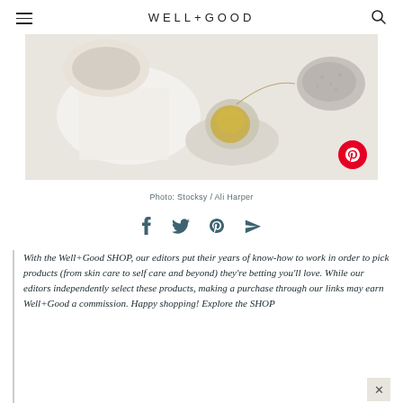WELL+GOOD
[Figure (photo): Top-down view of wellness/beauty products on a white surface: a ceramic cup, a small jar of oil on a marble coaster, and a pumice stone. A red Pinterest badge is overlaid in the lower right corner.]
Photo: Stocksy / Ali Harper
[Figure (other): Social sharing icons row: Facebook, Twitter, Pinterest, and Send/email icons in dark teal color]
With the Well+Good SHOP, our editors put their years of know-how to work in order to pick products (from skin care to self care and beyond) they're betting you'll love. While our editors independently select these products, making a purchase through our links may earn Well+Good a commission. Happy shopping! Explore the SHOP